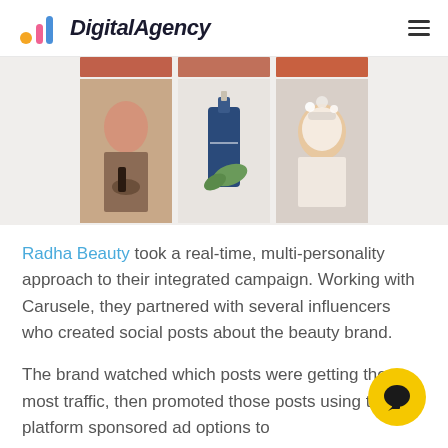DigitalAgency
[Figure (photo): Three-panel image grid showing beauty product influencer content: a woman holding a product, a blue serum bottle, and a person with a face mask]
Radha Beauty took a real-time, multi-personality approach to their integrated campaign. Working with Carusele, they partnered with several influencers who created social posts about the beauty brand.
The brand watched which posts were getting the most traffic, then promoted those posts using the platform sponsored ad options to